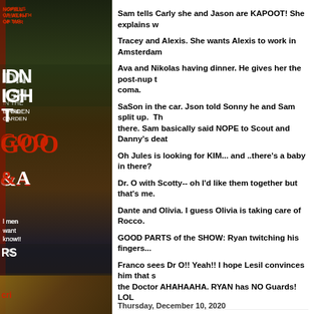[Figure (photo): Book cover collage on left side: dark green/brown book cover with red text, showing 'MIDNIGHT IN THE GARDEN OF GOOD & EVIL' and figures at bottom]
Sam tells Carly she and Jason are KAPOOT! She explains w...
Tracey and Alexis. She wants Alexis to work in Amsterdam...
Ava and Nikolas having dinner. He gives her the post-nup t... coma.
SaSon in the car. Json told Sonny he and Sam split up. Th... there. Sam basically said NOPE to Scout and Danny's deat...
Oh Jules is looking for KIM... and ..there's a baby in there?
Dr. O with Scotty-- oh I'd like them together but that's me.
Dante and Olivia. I guess Olivia is taking care of Rocco.
GOOD PARTS of the SHOW: Ryan twitching his fingers...
Franco sees Dr O!! Yeah!! I hope Lesil convinces him that s... the Doctor AHAHAAHA. RYAN has NO Guards! LOL
By kdmask - December 12, 2020   13 comments:
Thursday, December 10, 2020